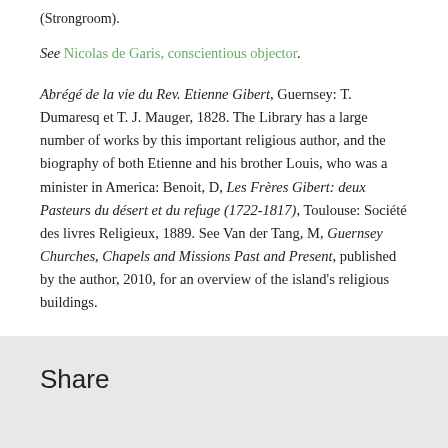(Strongroom).
See Nicolas de Garis, conscientious objector.
Abrégé de la vie du Rev. Etienne Gibert, Guernsey: T. Dumaresq et T. J. Mauger, 1828. The Library has a large number of works by this important religious author, and the biography of both Etienne and his brother Louis, who was a minister in America: Benoit, D, Les Frères Gibert: deux Pasteurs du désert et du refuge (1722-1817), Toulouse: Société des livres Religieux, 1889. See Van der Tang, M, Guernsey Churches, Chapels and Missions Past and Present, published by the author, 2010, for an overview of the island's religious buildings.
Share